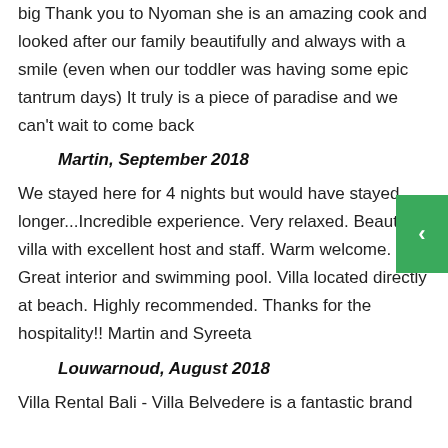big Thank you to Nyoman she is an amazing cook and looked after our family beautifully and always with a smile (even when our toddler was having some epic tantrum days) It truly is a piece of paradise and we can't wait to come back
Martin, September 2018
We stayed here for 4 nights but would have stayed longer...Incredible experience. Very relaxed. Beautiful villa with excellent host and staff. Warm welcome. Great interior and swimming pool. Villa located directly at beach. Highly recommended. Thanks for the hospitality!! Martin and Syreeta
Louwarnoud, August 2018
Villa Rental Bali - Villa Belvedere is a fantastic brand